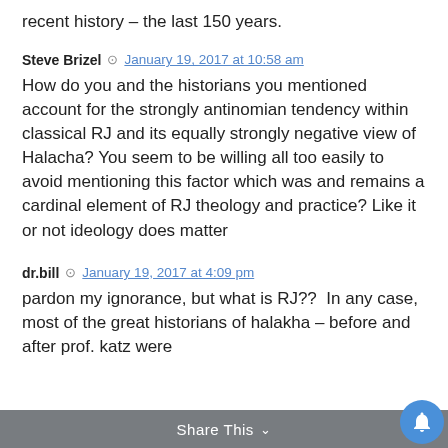recent history – the last 150 years.
Steve Brizel  January 19, 2017 at 10:58 am
How do you and the historians you mentioned account for the strongly antinomian tendency within classical RJ and its equally strongly negative view of Halacha? You seem to be willing all too easily to avoid mentioning this factor which was and remains a cardinal element of RJ theology and practice? Like it or not ideology does matter
dr.bill  January 19, 2017 at 4:09 pm
pardon my ignorance, but what is RJ??  In any case, most of the great historians of halakha – before and after prof. katz were